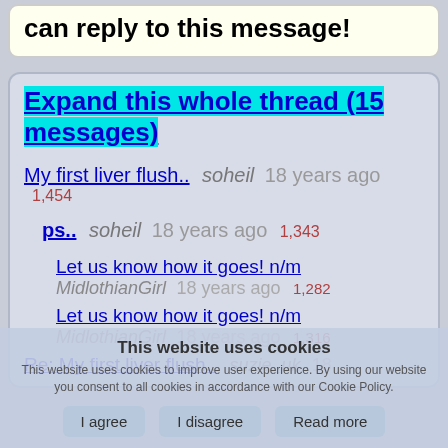can reply to this message!
Expand this whole thread (15 messages)
My first liver flush.. soheil 18 years ago 1,454
ps.. soheil 18 years ago 1,343
Let us know how it goes! n/m MidlothianGirl 18 years ago 1,282
Let us know how it goes! n/m MidlothianGirl 18 years ago 1,316
Re: My first liver flush.. suzie_uk 18
This website uses cookies
This website uses cookies to improve user experience. By using our website you consent to all cookies in accordance with our Cookie Policy.
I agree | I disagree | Read more